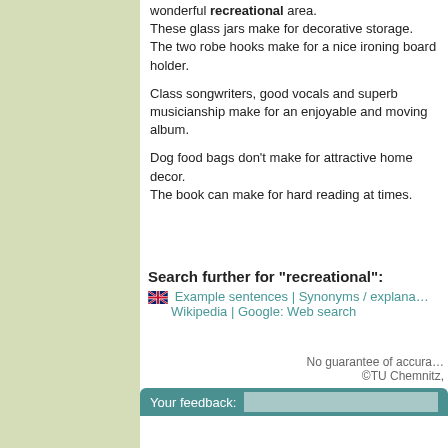wonderful recreational area. These glass jars make for decorative storage. The two robe hooks make for a nice ironing board holder.
Class songwriters, good vocals and superb musicianship make for an enjoyable and moving album.
Dog food bags don't make for attractive home decor. The book can make for hard reading at times.
Search further for "recreational":
Example sentences | Synonyms / explana… Wikipedia | Google: Web search
No guarantee of accura… ©TU Chemnitz,
Your feedback: